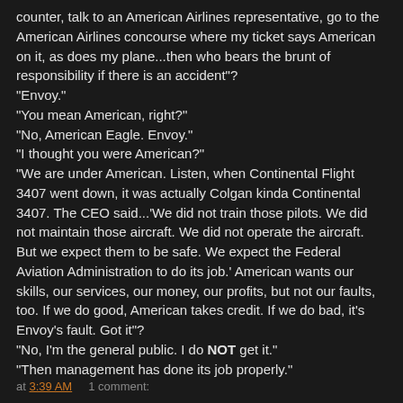counter, talk to an American Airlines representative, go to the American Airlines concourse where my ticket says American on it, as does my plane...then who bears the brunt of responsibility if there is an accident"?
"Envoy."
"You mean American, right?"
"No, American Eagle. Envoy."
"I thought you were American?"
"We are under American. Listen, when Continental Flight 3407 went down, it was actually Colgan kinda Continental 3407. The CEO said...'We did not train those pilots. We did not maintain those aircraft. We did not operate the aircraft. But we expect them to be safe. We expect the Federal Aviation Administration to do its job.' American wants our skills, our services, our money, our profits, but not our faults, too. If we do good, American takes credit. If we do bad, it's Envoy's fault. Got it"?
"No, I'm the general public. I do NOT get it."
"Then management has done its job properly."
at 3:39 AM     1 comment: